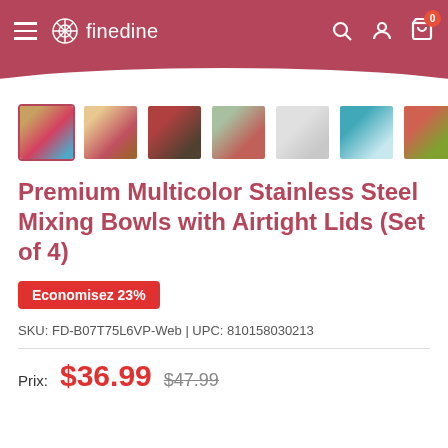finedine
[Figure (screenshot): Product thumbnail gallery showing 7 images of mixing bowls sets in various colors and settings]
Premium Multicolor Stainless Steel Mixing Bowls with Airtight Lids (Set of 4)
Economisez 23%
SKU: FD-B07T75L6VP-Web | UPC: 810158030213
Prix: $36.99  $47.99